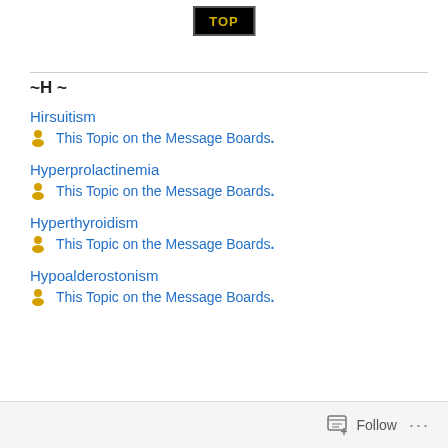[Figure (other): TOP navigation button - black background with yellow 'TOP' text]
~H ~
Hirsuitism
🧑This Topic on the Message Boards.
Hyperprolactinemia
🧑This Topic on the Message Boards.
Hyperthyroidism
🧑This Topic on the Message Boards.
Hypoalderostonism
🧑This Topic on the Message Boards.
Follow ...